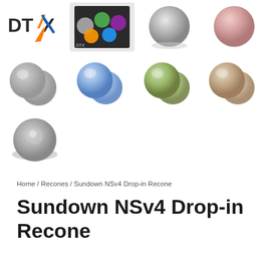[Figure (photo): Grid of product photos showing DTX logo, capsule/button speaker components in various colors: silver mesh, blue pearl, green, tan/gold, silver/gray. Top row: DTX logo, multi-colored capsules box, silver dome capsule, rose/pink dome capsule. Middle row: silver mesh buttons (pair), blue pearl buttons (pair), green buttons (pair), tan/gold buttons (pair). Bottom row: single silver/gray button.]
Home / Recones / Sundown NSv4 Drop-in Recone
Sundown NSv4 Drop-in Recone